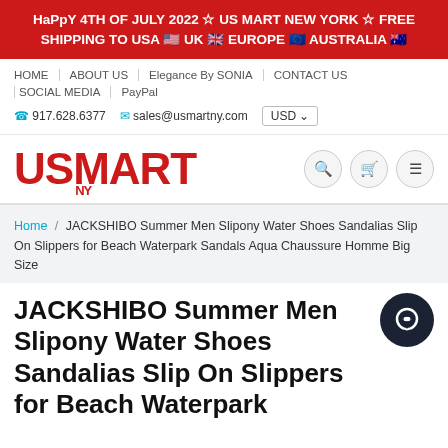HaPpY 4TH OF JULY 2022 ☆ US MART NEW YORK ☆ FREE SHIPPING TO USA 🇺🇸 UK 🇬🇧 EUROPE 🇪🇺 AUSTRALIA 🇦🇺
HOME | ABOUT US | Elegance By SONIA | CONTACT US | SOCIAL MEDIA | PayPal
📞 917.628.6377 ✉ sales@usmartny.com USD
[Figure (logo): USMART NY logo in bold red letters]
Home / JACKSHIBO Summer Men Slipony Water Shoes Sandalias Slip On Slippers for Beach Waterpark Sandals Aqua Chaussure Homme Big Size
JACKSHIBO Summer Men Slipony Water Shoes Sandalias Slip On Slippers for Beach Waterpark